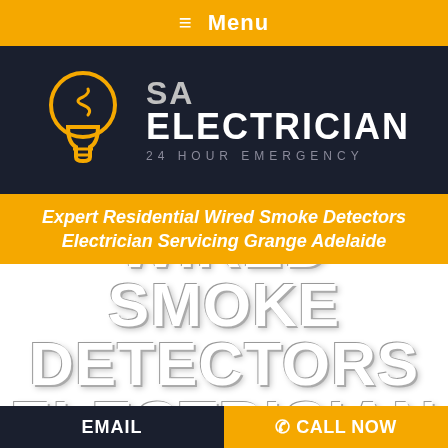≡ Menu
[Figure (logo): SA Electrician 24 Hour Emergency logo with yellow lightbulb icon on dark navy background]
Expert Residential Wired Smoke Detectors Electrician Servicing Grange Adelaide
WIRED SMOKE DETECTORS ELECTRICIAN
EMAIL    ☎ CALL NOW